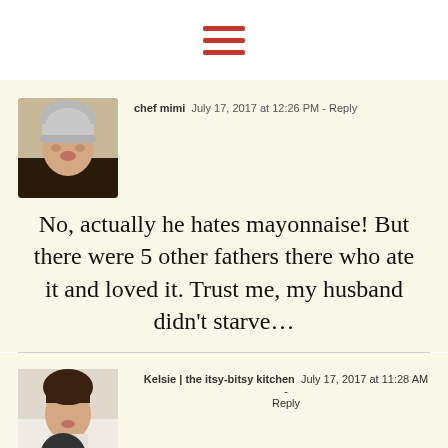[Figure (other): Hamburger menu icon with three red horizontal lines]
[Figure (photo): Avatar photo of chef mimi, a woman with short gray hair]
chef mimi  July 17, 2017 at 12:26 PM - Reply
No, actually he hates mayonnaise! But there were 5 other fathers there who ate it and loved it. Trust me, my husband didn't starve…
[Figure (photo): Avatar photo of Kelsie, a woman with dark hair]
Kelsie | the itsy-bitsy kitchen  July 17, 2017 at 11:28 AM - Reply
I LOVE that this has feta in it! It sounds amazing!